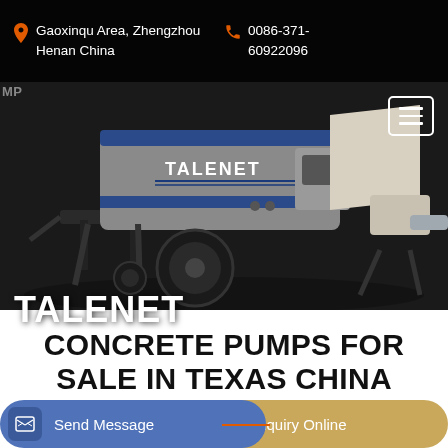Gaoxinqu Area, Zhengzhou Henan China   0086-371-60922096
[Figure (photo): Talenet branded concrete pump machine on a dark background — a trailer-mounted concrete pump with grey body, blue TALENET logo/stripes, black wheel, and white hopper/outlet section on the right.]
TALENET
CONCRETE PUMPS FOR SALE IN TEXAS CHINA CONCRETE MIXER CHINA
Send Message
Inquiry Online